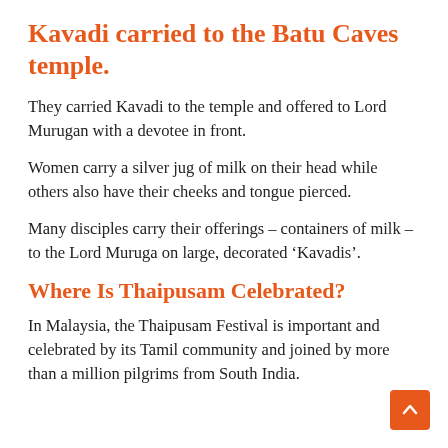Kavadi carried to the Batu Caves temple.
They carried Kavadi to the temple and offered to Lord Murugan with a devotee in front.
Women carry a silver jug of milk on their head while others also have their cheeks and tongue pierced.
Many disciples carry their offerings – containers of milk – to the Lord Muruga on large, decorated ‘Kavadis’.
Where Is Thaipusam Celebrated?
In Malaysia, the Thaipusam Festival is important and celebrated by its Tamil community and joined by more than a million pilgrims from South India.